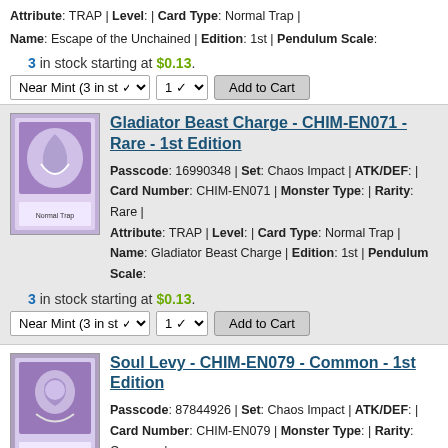Attribute: TRAP | Level: | Card Type: Normal Trap | Name: Escape of the Unchained | Edition: 1st | Pendulum Scale:
3 in stock starting at $0.13.
Near Mint (3 in st) | 1 | Add to Cart
Gladiator Beast Charge - CHIM-EN071 - Rare - 1st Edition
Passcode: 16990348 | Set: Chaos Impact | ATK/DEF: | Card Number: CHIM-EN071 | Monster Type: | Rarity: Rare | Attribute: TRAP | Level: | Card Type: Normal Trap | Name: Gladiator Beast Charge | Edition: 1st | Pendulum Scale:
3 in stock starting at $0.13.
Near Mint (3 in st) | 1 | Add to Cart
Soul Levy - CHIM-EN079 - Common - 1st Edition
Passcode: 87844926 | Set: Chaos Impact | ATK/DEF: | Card Number: CHIM-EN079 | Monster Type: | Rarity: Common | Attribute: TRAP | Level: | Card Type: Continuous Trap | Name: Soul Levy | Edition: 1st | Pendulum Scale:
3 in stock starting at $0.13.
Near Mint (3 in st) | 1 | Add to Cart
1  2  3  4  Next »
Home